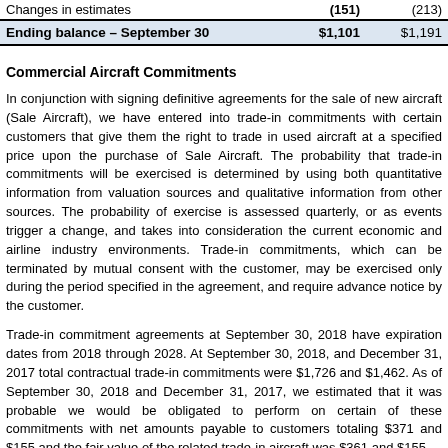|  |  |  |
| --- | --- | --- |
| Changes in estimates | (151) | (213) |
| Ending balance – September 30 | $1,101 | $1,191 |
Commercial Aircraft Commitments
In conjunction with signing definitive agreements for the sale of new aircraft (Sale Aircraft), we have entered into trade-in commitments with certain customers that give them the right to trade in used aircraft at a specified price upon the purchase of Sale Aircraft. The probability that trade-in commitments will be exercised is determined by using both quantitative information from valuation sources and qualitative information from other sources. The probability of exercise is assessed quarterly, or as events trigger a change, and takes into consideration the current economic and airline industry environments. Trade-in commitments, which can be terminated by mutual consent with the customer, may be exercised only during the period specified in the agreement, and require advance notice by the customer.
Trade-in commitment agreements at September 30, 2018 have expiration dates from 2018 through 2028. At September 30, 2018, and December 31, 2017 total contractual trade-in commitments were $1,726 and $1,462. As of September 30, 2018 and December 31, 2017, we estimated that it was probable we would be obligated to perform on certain of these commitments with net amounts payable to customers totaling $371 and $155 and the fair value of the related trade-in aircraft was $361 and $155.